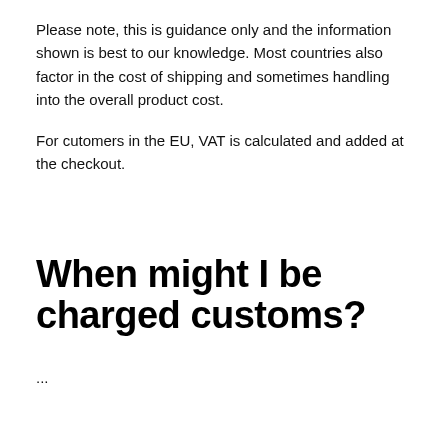Please note, this is guidance only and the information shown is best to our knowledge. Most countries also factor in the cost of shipping and sometimes handling into the overall product cost.
For cutomers in the EU, VAT is calculated and added at the checkout.
When might I be charged customs?
...
North America